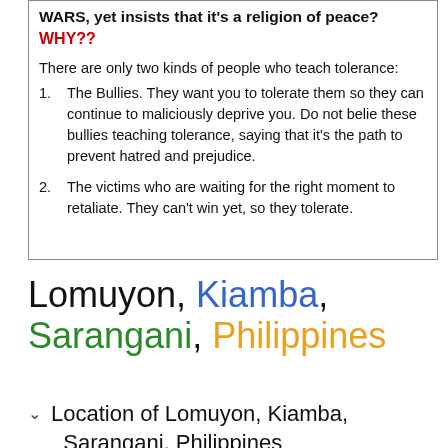WARS, yet insists that it's a religion of peace?
WHY??
There are only two kinds of people who teach tolerance:
1. The Bullies. They want you to tolerate them so they can continue to maliciously deprive you. Do not believe these bullies teaching tolerance, saying that it's the path to prevent hatred and prejudice.
2. The victims who are waiting for the right moment to retaliate. They can't win yet, so they tolerate.
Lomuyon, Kiamba, Sarangani, Philippines
Location of Lomuyon, Kiamba, Sarangani, Philippines